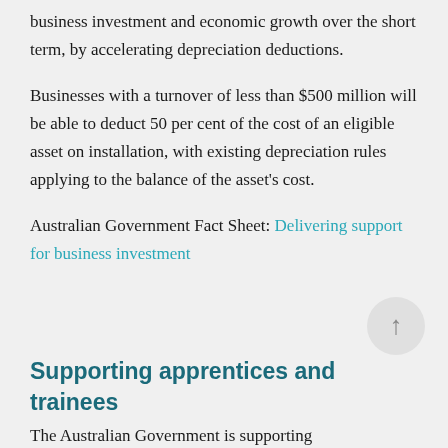business investment and economic growth over the short term, by accelerating depreciation deductions.
Businesses with a turnover of less than $500 million will be able to deduct 50 per cent of the cost of an eligible asset on installation, with existing depreciation rules applying to the balance of the asset's cost.
Australian Government Fact Sheet: Delivering support for business investment
Supporting apprentices and trainees
The Australian Government is supporting